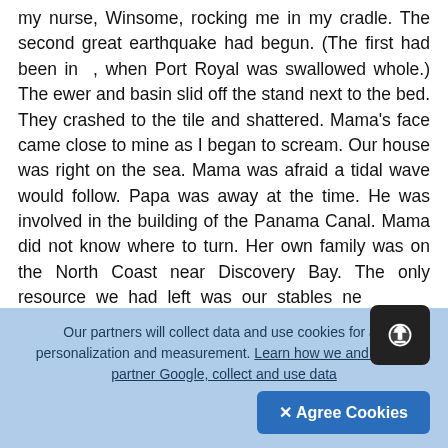my nurse, Winsome, rocking me in my cradle. The second great earthquake had begun. (The first had been in , when Port Royal was swallowed whole.) The ewer and basin slid off the stand next to the bed. They crashed to the tile and shattered. Mama's face came close to mine as I began to scream. Our house was right on the sea. Mama was afraid a tidal wave would follow. Papa was away at the time. He was involved in the building of the Panama Canal. Mama did not know where to turn. Her own family was on the North Coast near Discovery Bay. The only resource we had left was our stables ne... racecourse in Knutsford Park. Mama gathe... four children — I was the youngest — and the servants and hired some men to carry us and some of...
[Figure (other): Floating action button (dark rounded square with upload/arrow icon)]
Our partners will collect data and use cookies for ad personalization and measurement. Learn how we and our ad partner Google, collect and use data
✕ Agree Cookies